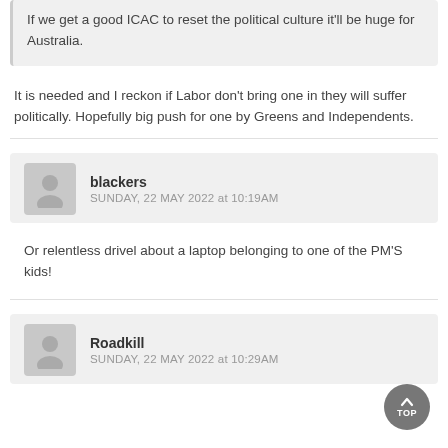If we get a good ICAC to reset the political culture it'll be huge for Australia.
It is needed and I reckon if Labor don't bring one in they will suffer politically. Hopefully big push for one by Greens and Independents.
blackers
SUNDAY, 22 MAY 2022 at 10:19AM
Or relentless drivel about a laptop belonging to one of the PM'S kids!
Roadkill
SUNDAY, 22 MAY 2022 at 10:29AM